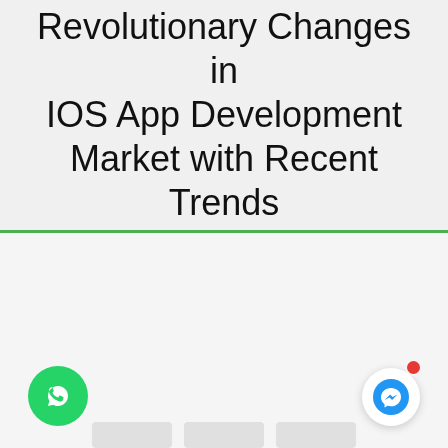Revolutionary Changes in IOS App Development Market with Recent Trends
[Figure (screenshot): Website UI screenshot showing navigation arrows (< >), a heart/like icon with count '0', a card with article title 'Revolutionary Changes in IOS App Development Market with Recent Trends', a green WhatsApp floating button, and a blue Messenger floating button with a red notification dot.]
Revolutionary Changes in IOS App Development Market with Recent Trends